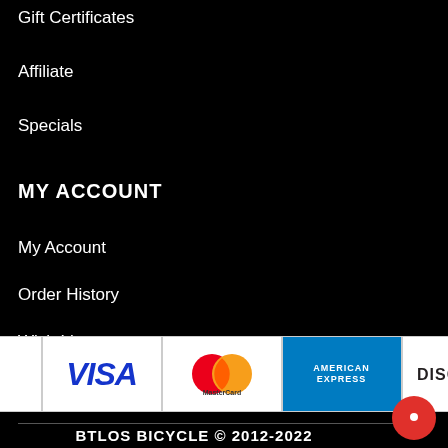Gift Certificates
Affiliate
Specials
MY ACCOUNT
My Account
Order History
Wish List
Newsletter
[Figure (logo): Payment method logos: PayPal, Visa, MasterCard, American Express, Discover]
BTLOS BICYCLE © 2012-2022